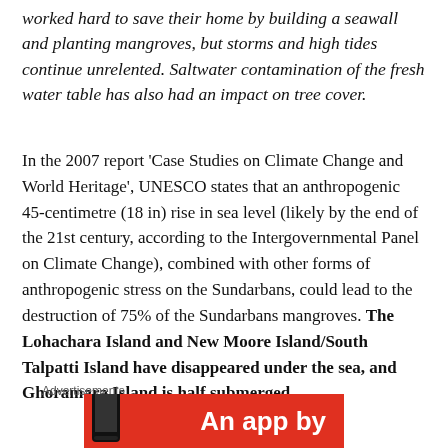worked hard to save their home by building a seawall and planting mangroves, but storms and high tides continue unrelented. Saltwater contamination of the fresh water table has also had an impact on tree cover.
In the 2007 report 'Case Studies on Climate Change and World Heritage', UNESCO states that an anthropogenic 45-centimetre (18 in) rise in sea level (likely by the end of the 21st century, according to the Intergovernmental Panel on Climate Change), combined with other forms of anthropogenic stress on the Sundarbans, could lead to the destruction of 75% of the Sundarbans mangroves. The Lohachara Island and New Moore Island/South Talpatti Island have disappeared under the sea, and Ghoramara Island is half submerged.
Advertisements
[Figure (other): Advertisement banner with red background showing 'An app by' text in white bold font with a dark phone device image on the left side.]